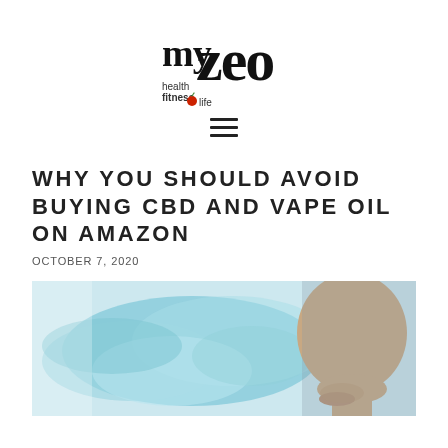[Figure (logo): myzeo health fitness life logo — stylized bold serif text with a red apple icon]
[Figure (other): Hamburger menu icon (three horizontal lines)]
WHY YOU SHOULD AVOID BUYING CBD AND VAPE OIL ON AMAZON
OCTOBER 7, 2020
[Figure (photo): Close-up photo of a person exhaling vape smoke with teal/blue vapor visible]